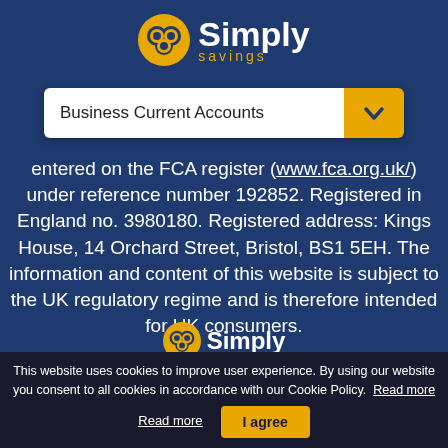[Figure (logo): Simply savings logo — orange circular icon with two overlapping circles, white text 'Simply' and gold 'savings' below]
[Figure (screenshot): Business Current Accounts dropdown selector with white text field and gold/yellow chevron button]
entered on the FCA register (www.fca.org.uk/) under reference number 192852. Registered in England no. 3980180. Registered address: Kings House, 14 Orchard Street, Bristol, BS1 5EH. The information and content of this website is subject to the UK regulatory regime and is therefore intended for UK consumers.
[Figure (logo): Simply savings logo at bottom of page, partially visible]
This website uses cookies to improve user experience. By using our website you consent to all cookies in accordance with our Cookie Policy.